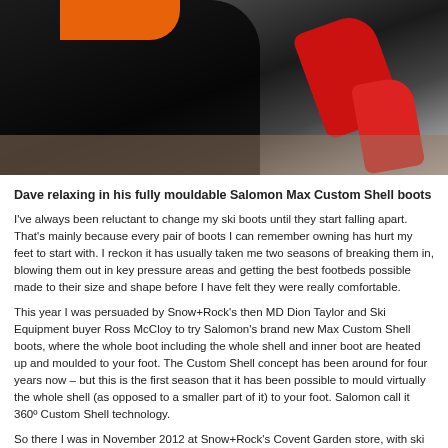[Figure (photo): Photo of a person relaxing/lying down wearing red Salomon Max Custom Shell ski boots, with dark ski pants and orange jacket visible, on a hard floor surface.]
Dave relaxing in his fully mouldable Salomon Max Custom Shell boots
I've always been reluctant to change my ski boots until they start falling apart. That's mainly because every pair of boots I can remember owning has hurt my feet to start with. I reckon it has usually taken me two seasons of breaking them in, blowing them out in key pressure areas and getting the best footbeds possible made to their size and shape before I have felt they were really comfortable.
This year I was persuaded by Snow+Rock's then MD Dion Taylor and Ski Equipment buyer Ross McCloy to try Salomon's brand new Max Custom Shell boots, where the whole boot including the whole shell and inner boot are heated up and moulded to your foot. The Custom Shell concept has been around for four years now – but this is the first season that it has been possible to mould virtually the whole shell (as opposed to a smaller part of it) to your foot. Salomon call it 360º Custom Shell technology.
So there I was in November 2012 at Snow+Rock's Covent Garden store, with ski department manager JP measuring my foot, giving me various brands to try on and confirming that in his view the Salomons would be best (even though they felt a little snug all round). Then he heated them up having transferred my old orthotic footbeds to the new boots – they were made by industry leader Norbert Cauvas who runs